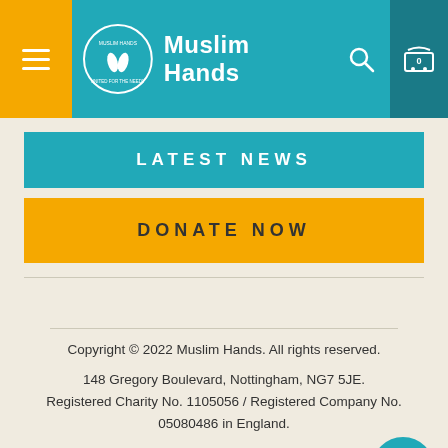[Figure (logo): Muslim Hands charity website header with logo, navigation menu icon, search icon, and cart icon]
LATEST NEWS
DONATE NOW
Copyright © 2022 Muslim Hands. All rights reserved.
148 Gregory Boulevard, Nottingham, NG7 5JE.
Registered Charity No. 1105056 / Registered Company No. 05080486 in England.
Privacy and Security   Terms and Conditions
Update Cookie Preferences